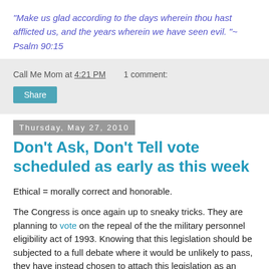"Make us glad according to the days wherein thou hast afflicted us, and the years wherein we have seen evil. "~ Psalm 90:15
Call Me Mom at 4:21 PM   1 comment:
Share
Thursday, May 27, 2010
Don't Ask, Don't Tell vote scheduled as early as this week
Ethical = morally correct and honorable.
The Congress is once again up to sneaky tricks. They are planning to vote on the repeal of the the military personnel eligibility act of 1993. Knowing that this legislation should be subjected to a full debate where it would be unlikely to pass, they have instead chosen to attach this legislation as an